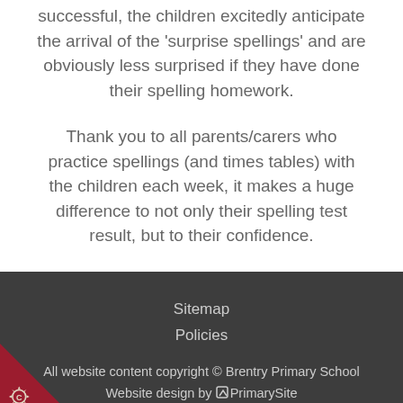successful, the children excitedly anticipate the arrival of the 'surprise spellings' and are obviously less surprised if they have done their spelling homework.
Thank you to all parents/carers who practice spellings (and times tables) with the children each week, it makes a huge difference to not only their spelling test result, but to their confidence.
Sitemap
Policies
All website content copyright © Brentry Primary School
Website design by PrimarySite